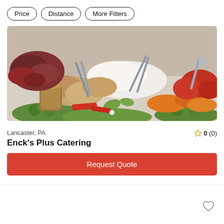Price
Distance
More Filters
[Figure (photo): A catering food spread with assorted meats, cheeses, vegetables, and serving utensils arranged on a table]
Lancaster, PA
0 (0)
Enck's Plus Catering
Request Quote